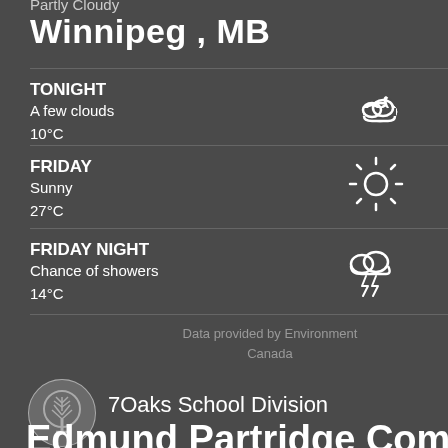Partly Cloudy
Winnipeg , MB
TONIGHT
A few clouds
10°C
FRIDAY
Sunny
27°C
FRIDAY NIGHT
Chance of showers
14°C
Data provided by Environment Canada
[Figure (logo): 7Oaks School Division tree logo]
7Oaks School Division
Edmund Partridge Community